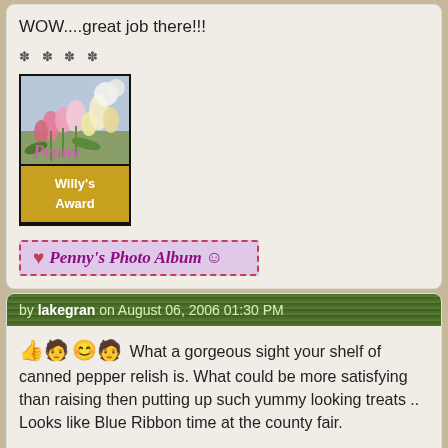WOW....great job there!!!
* * * *
[Figure (illustration): Willy's Award badge with flowers photo on top and gold/black bottom section with text 'Willy's Award']
[Figure (illustration): Penny's Photo Album banner in purple/pink with red dashed border, heart icon and smiley face]
by lakegran on August 06, 2006 01:30 PM
What a gorgeous sight your shelf of canned pepper relish is. What could be more satisfying than raising then putting up such yummy looking treats .. Looks like Blue Ribbon time at the county fair.
* * * *